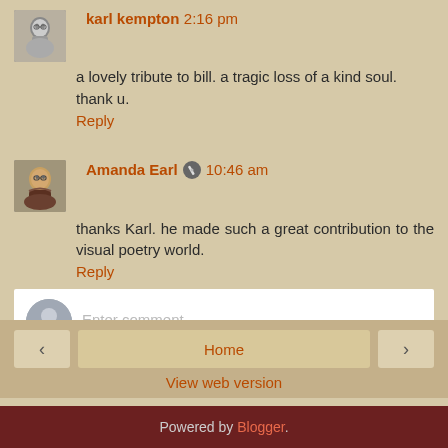karl kempton 2:16 pm
a lovely tribute to bill. a tragic loss of a kind soul. thank u.
Reply
Amanda Earl 10:46 am
thanks Karl. he made such a great contribution to the visual poetry world.
Reply
Enter comment
Home
View web version
Powered by Blogger.